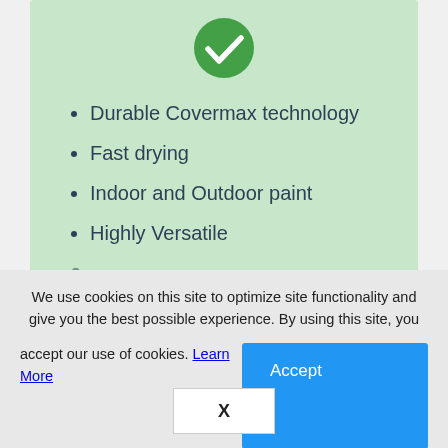[Figure (illustration): Green circle with white checkmark icon centered at top of green card]
Durable Covermax technology
Fast drying
Indoor and Outdoor paint
Highly Versatile
We use cookies on this site to optimize site functionality and give you the best possible experience. By using this site, you accept our use of cookies. Learn More
Accept
X